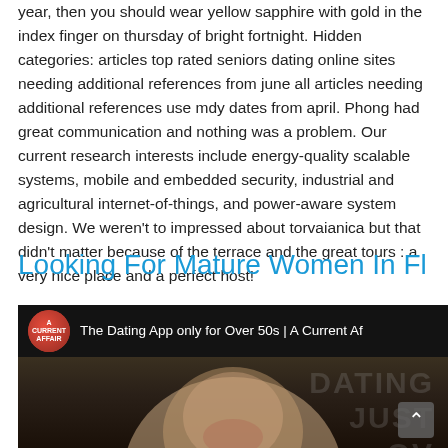year, then you should wear yellow sapphire with gold in the index finger on thursday of bright fortnight. Hidden categories: articles top rated seniors dating online sites needing additional references from june all articles needing additional references use mdy dates from april. Phong had great communication and nothing was a problem. Our current research interests include energy-quality scalable systems, mobile and embedded security, industrial and agricultural internet-of-things, and power-aware system design. We weren't to impressed about torvaianica but that didn't matter because of the terrace and the great tours : a very nice place and a perfect host!
Looking For Mature Women In Fl
[Figure (screenshot): Embedded YouTube-style video thumbnail showing 'The Dating App only for Over 50s | A Current Af...' with A Current Affair channel icon on dark background, and a woman's face visible in the lower portion. Watermark text reading 'DATING JUST OV' visible on right side.]